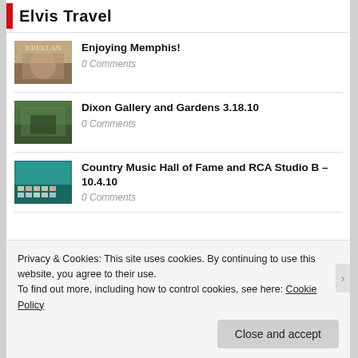Elvis Travel
Enjoying Memphis! 0 Comments
Dixon Gallery and Gardens 3.18.10 0 Comments
Country Music Hall of Fame and RCA Studio B – 10.4.10 0 Comments
Privacy & Cookies: This site uses cookies. By continuing to use this website, you agree to their use.
To find out more, including how to control cookies, see here: Cookie Policy
Close and accept